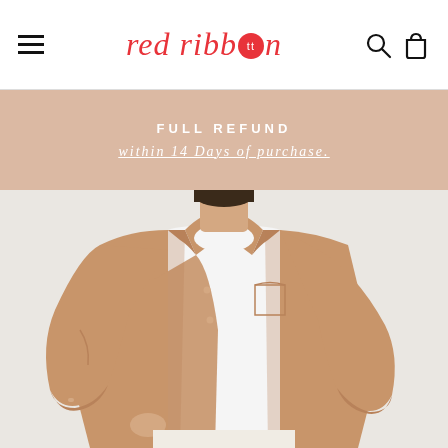red ribbon (logo) | hamburger menu | search icon | cart icon
FULL REFUND
within 14 Days of purchase.
[Figure (photo): A man wearing a camel/tan button-down oxford shirt open over a white t-shirt, with white trousers. The photo is cropped at the neck, showing the torso and arms against a light grey background.]